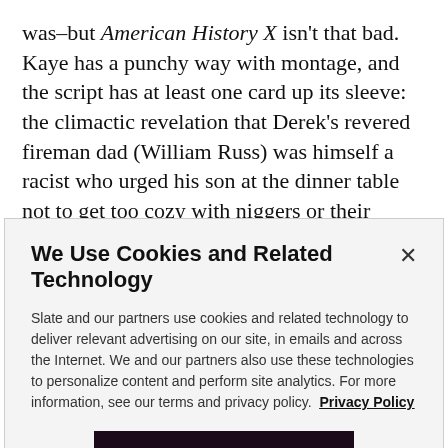was–but American History X isn't that bad. Kaye has a punchy way with montage, and the script has at least one card up its sleeve: the climactic revelation that Derek's revered fireman dad (William Russ) was himself a racist who urged his son at the dinner table not to get too cozy with niggers or their literature. It's a testament to Norton's utter immersion in the role that he can even halfway connect the dots between this fundamentally
We Use Cookies and Related Technology
Slate and our partners use cookies and related technology to deliver relevant advertising on our site, in emails and across the Internet. We and our partners also use these technologies to personalize content and perform site analytics. For more information, see our terms and privacy policy. Privacy Policy